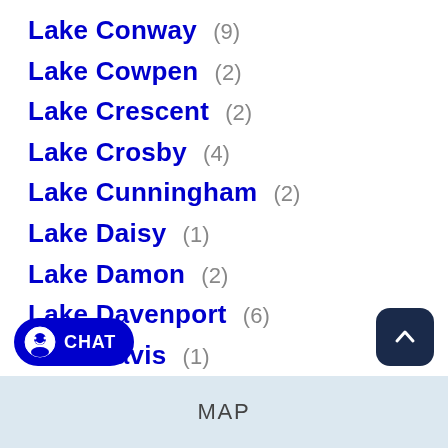Lake Conway (9)
Lake Cowpen (2)
Lake Crescent (2)
Lake Crosby (4)
Lake Cunningham (2)
Lake Daisy (1)
Lake Damon (2)
Lake Davenport (6)
Lake Davis (1)
MAP